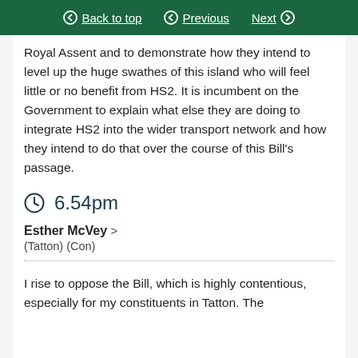Back to top | Previous | Next
Royal Assent and to demonstrate how they intend to level up the huge swathes of this island who will feel little or no benefit from HS2. It is incumbent on the Government to explain what else they are doing to integrate HS2 into the wider transport network and how they intend to do that over the course of this Bill's passage.
6.54pm
Esther McVey
(Tatton) (Con)
I rise to oppose the Bill, which is highly contentious, especially for my constituents in Tatton. The